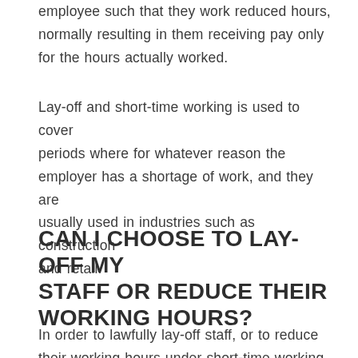employee such that they work reduced hours, normally resulting in them receiving pay only for the hours actually worked.
Lay-off and short-time working is used to cover periods where for whatever reason the employer has a shortage of work, and they are usually used in industries such as construction and retail.
CAN I CHOOSE TO LAY-OFF MY STAFF OR REDUCE THEIR WORKING HOURS?
In order to lawfully lay-off staff, or to reduce their working hours under short-time working